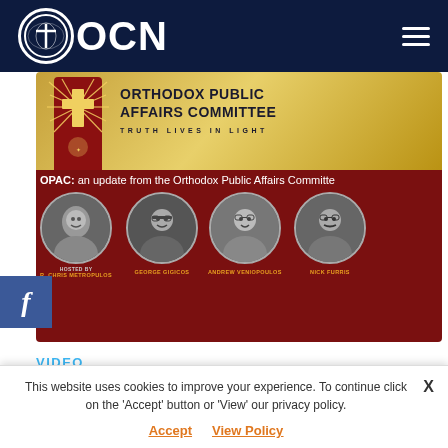OCN
[Figure (screenshot): Orthodox Public Affairs Committee banner image showing OPAC logo with cross, title 'ORTHODOX PUBLIC AFFAIRS COMMITTEE – TRUTH LIVES IN LIGHT', and dark maroon section with text 'OPAC: an update from the Orthodox Public Affairs Committee', four circular portrait photos of Fr. Chris Metropulos (hosted by), George Gigicos, Andrew Veniopoulos, Nick Furris]
VIDEO
OPAC Update
This website uses cookies to improve your experience. To continue click on the 'Accept' button or 'View' our privacy policy.
Accept   View Policy